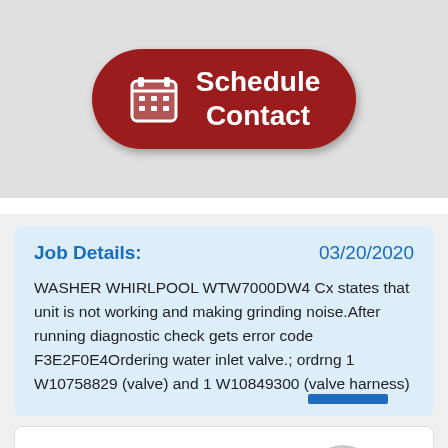[Figure (screenshot): Red rounded button with calendar icon and text 'Schedule Contact']
Job Details: 03/20/2020
WASHER WHIRLPOOL WTW7000DW4 Cx states that unit is not working and making grinding noise.After running diagnostic check gets error code F3E2F0E4Ordering water inlet valve.; ordrng 1 W10758829 (valve) and 1 W10849300 (valve harness)
[Figure (photo): Partial photo of a person's head/avatar at bottom of page]